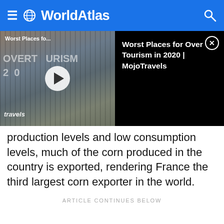WorldAtlas
[Figure (screenshot): Video thumbnail showing a crowd of tourists with text 'OVERTOURISM 2020' and a play button; right panel shows title 'Worst Places for Over Tourism in 2020 | MojoTravels' on black background]
production levels and low consumption levels, much of the corn produced in the country is exported, rendering France the third largest corn exporter in the world.
ARTICLE CONTINUES BELOW